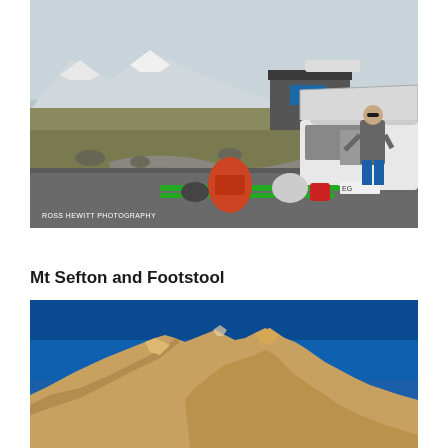[Figure (photo): A person standing at the back of an open car boot/trunk with ski gear laid out on the ground in front, snow-capped mountains and a visitor centre building in the background. Credit: ROSS HEWITT PHOTOGRAPHY]
Mt Sefton and Footstool
[Figure (photo): Rocky mountain peaks against a deep blue sky, showing rugged golden-brown rocky terrain of Mt Sefton and Footstool.]